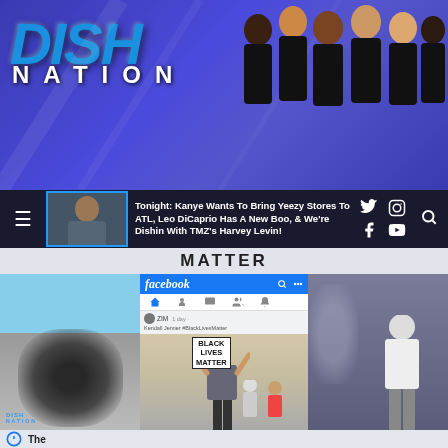[Figure (screenshot): Dish Nation TV show website header banner with blue metallic logo text 'DISH NATION' and cast photo on right side]
Tonight: Kanye Wants To Bring Yeezy Stores To ATL, Leo DiCaprio Has A New Boo, & We're Dishin With TMZ's Harvey Levin!
MATTER
[Figure (screenshot): Facebook post screenshot showing Kendall Jenner at Black Lives Matter protest holding BLM sign, with blurred flanking photos]
[Figure (photo): Partial bottom strip showing beginning of another article or content section]